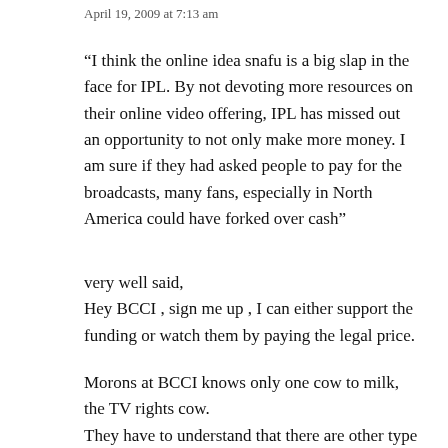April 19, 2009 at 7:13 am
“I think the online idea snafu is a big slap in the face for IPL. By not devoting more resources on their online video offering, IPL has missed out an opportunity to not only make more money. I am sure if they had asked people to pay for the broadcasts, many fans, especially in North America could have forked over cash”
very well said,
Hey BCCI , sign me up , I can either support the funding or watch them by paying the legal price.
Morons at BCCI knows only one cow to milk, the TV rights cow.
They have to understand that there are other type of demographic that watches cricket in North America